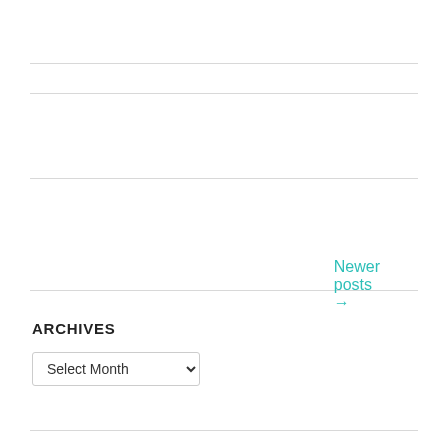Newer posts →
[Figure (other): WordPress Follow button: 'Follow Reading 1000 Lives']
ARCHIVES
Select Month (dropdown)